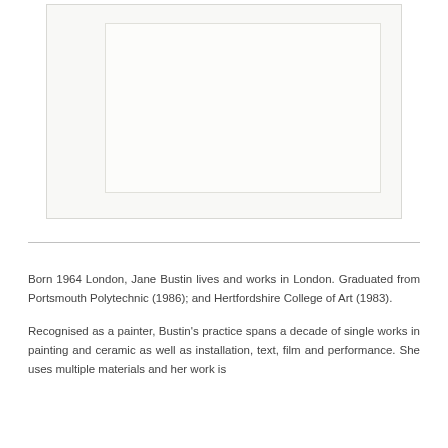[Figure (photo): A framed artwork or canvas shown against a white background — appears to be a pale, nearly white painting or artwork with a thin border/frame visible.]
Born 1964 London, Jane Bustin lives and works in London. Graduated from Portsmouth Polytechnic (1986); and Hertfordshire College of Art (1983).
Recognised as a painter, Bustin's practice spans a decade of single works in painting and ceramic as well as installation, text, film and performance. She uses multiple materials and her work is